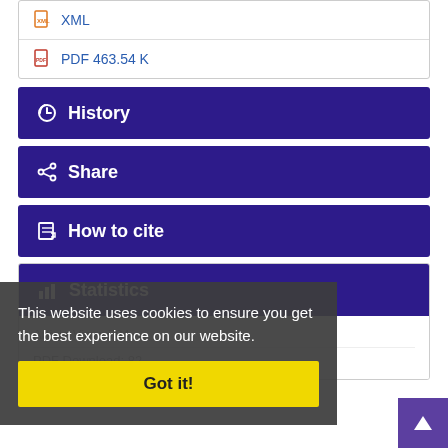XML
PDF 463.54 K
History
Share
How to cite
Statistics
Article View: 704
PDF Download: 82
This website uses cookies to ensure you get the best experience on our website.
Got it!